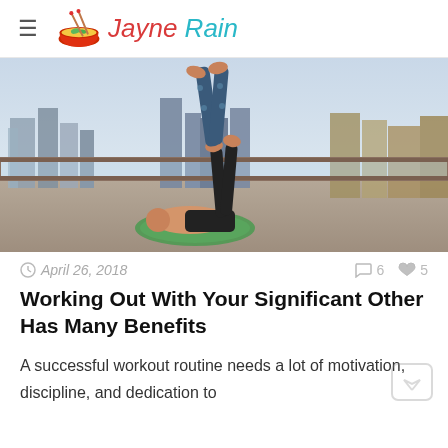Jayne Rain
[Figure (photo): Two people doing partner acro-yoga on a rooftop with a city skyline in the background. One person lies on a green mat while balancing the other person with their feet raised in the air.]
April 26, 2018   💬 6  ♥ 5
Working Out With Your Significant Other Has Many Benefits
A successful workout routine needs a lot of motivation, discipline, and dedication to